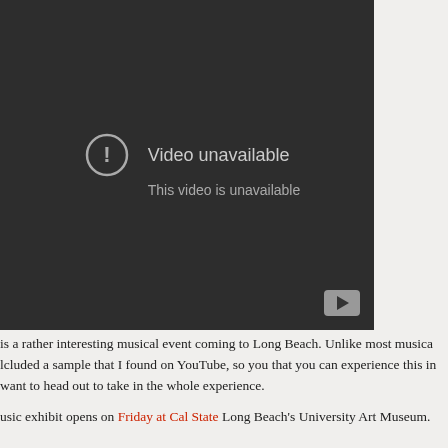[Figure (screenshot): YouTube video embed showing 'Video unavailable / This video is unavailable' error message on a dark background, with a play button icon in the bottom right corner.]
is a rather interesting musical event coming to Long Beach. Unlike most musica... lcluded a sample that I found on YouTube, so you that you can experience this in... want to head out to take in the whole experience.
usic exhibit opens on Friday at Cal State Long Beach's University Art Museum. ...